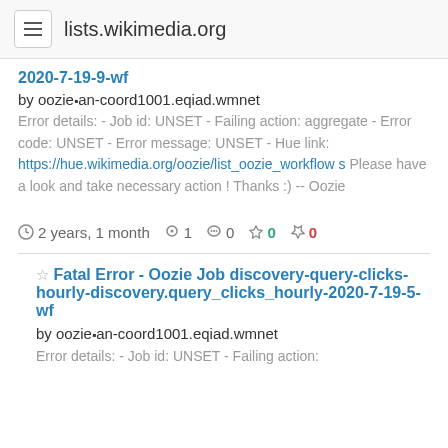lists.wikimedia.org
2020-7-19-9-wf
by oozie▪n-coord1001.eqiad.wmnet
Error details: - Job id: UNSET - Failing action: aggregate - Error code: UNSET - Error message: UNSET - Hue link: https://hue.wikimedia.org/oozie/list_oozie_workflows Please have a look and take necessary action ! Thanks :) -- Oozie
2 years, 1 month  1  0  0  0
Fatal Error - Oozie Job discovery-query-clicks-hourly-discovery.query_clicks_hourly-2020-7-19-5-wf
by oozie▪n-coord1001.eqiad.wmnet
Error details: - Job id: UNSET - Failing action: